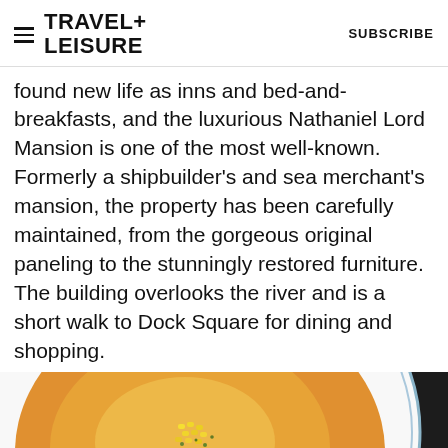TRAVEL+ LEISURE   SUBSCRIBE
found new life as inns and bed-and-breakfasts, and the luxurious Nathaniel Lord Mansion is one of the most well-known. Formerly a shipbuilder's and sea merchant's mansion, the property has been carefully maintained, from the gorgeous original paneling to the stunningly restored furniture. The building overlooks the river and is a short walk to Dock Square for dining and shopping.
[Figure (photo): Close-up photo of a white ceramic bowl with blue rim containing an orange/yellow soup with corn kernels and herbs, shot from above on a dark background.]
[Figure (other): Advertisement banner: Venture X > Capital One logo with red swoosh]